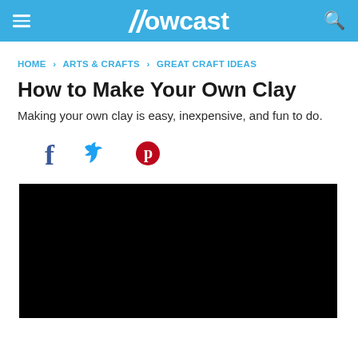Howcast
HOME › ARTS & CRAFTS › GREAT CRAFT IDEAS
How to Make Your Own Clay
Making your own clay is easy, inexpensive, and fun to do.
[Figure (screenshot): Social sharing icons: Facebook (f), Twitter (bird), Pinterest (p)]
[Figure (screenshot): Black video player embed area]